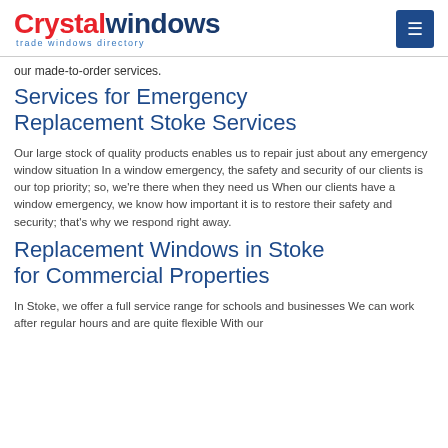Crystalwindows trade windows directory
our made-to-order services.
Services for Emergency Replacement Stoke Services
Our large stock of quality products enables us to repair just about any emergency window situation In a window emergency, the safety and security of our clients is our top priority; so, we're there when they need us When our clients have a window emergency, we know how important it is to restore their safety and security; that's why we respond right away.
Replacement Windows in Stoke for Commercial Properties
In Stoke, we offer a full service range for schools and businesses We can work after regular hours and are quite flexible With our